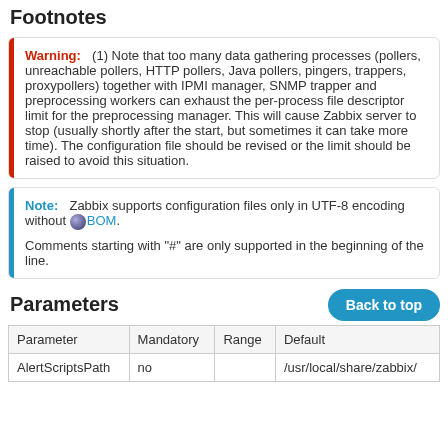Footnotes
Warning: (1) Note that too many data gathering processes (pollers, unreachable pollers, HTTP pollers, Java pollers, pingers, trappers, proxypollers) together with IPMI manager, SNMP trapper and preprocessing workers can exhaust the per-process file descriptor limit for the preprocessing manager. This will cause Zabbix server to stop (usually shortly after the start, but sometimes it can take more time). The configuration file should be revised or the limit should be raised to avoid this situation.
Note: Zabbix supports configuration files only in UTF-8 encoding without BOM.

Comments starting with "#" are only supported in the beginning of the line.
Parameters
| Parameter | Mandatory | Range | Default |
| --- | --- | --- | --- |
| AlertScriptsPath | no |  | /usr/local/share/zabbix/ |